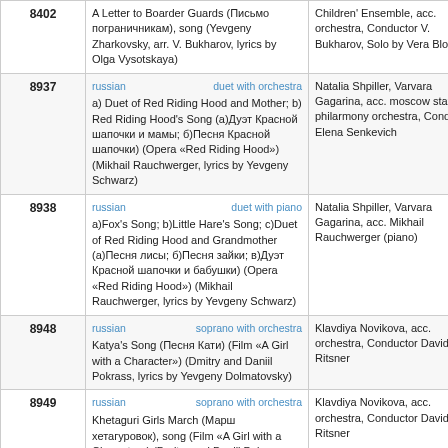| ID | Description | Performers |
| --- | --- | --- |
| 8402 | A Letter to Boarder Guards (Письмо пограничникам), song (Yevgeny Zharkovsky, arr. V. Bukharov, lyrics by Olga Vysotskaya) | Children' Ensemble, acc. orchestra, Conductor V. Bukharov, Solo by Vera Blokhin |
| 8937 | russian | duet with orchestra
a) Duet of Red Riding Hood and Mother; b) Red Riding Hood's Song (а)Дуэт Красной шапочки и мамы; б)Песня Красной шапочки) (Opera «Red Riding Hood») (Mikhail Rauchwerger, lyrics by Yevgeny Schwarz) | Natalia Shpiller, Varvara Gagarina, acc. moscow state philarmony orchestra, Conduct Elena Senkevich |
| 8938 | russian | duet with piano
a)Fox's Song; b)Little Hare's Song; c)Duet of Red Riding Hood and Grandmother (а)Песня лисы; б)Песня зайки; в)Дуэт Красной шапочки и бабушки) (Opera «Red Riding Hood») (Mikhail Rauchwerger, lyrics by Yevgeny Schwarz) | Natalia Shpiller, Varvara Gagarina, acc. Mikhail Rauchwerger (piano) |
| 8948 | russian | soprano with orchestra
Katya's Song (Песня Кати) (Film «A Girl with a Character») (Dmitry and Daniil Pokrass, lyrics by Yevgeny Dolmatovsky) | Klavdiya Novikova, acc. orchestra, Conductor David Ritsner |
| 8949 | russian | soprano with orchestra
Khetaguri Girls March (Марш хетагуровок), song (Film «A Girl with a Character») (Dmitry and Daniil Pokrass, lyrics by Yevgeny Dolmatovsky) | Klavdiya Novikova, acc. orchestra, Conductor David Ritsner |